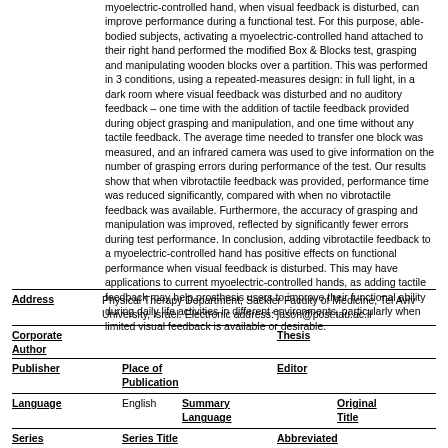myoelectric-controlled hand, when visual feedback is disturbed, can improve performance during a functional test. For this purpose, able-bodied subjects, activating a myoelectric-controlled hand attached to their right hand performed the modified Box & Blocks test, grasping and manipulating wooden blocks over a partition. This was performed in 3 conditions, using a repeated-measures design: in full light, in a dark room where visual feedback was disturbed and no auditory feedback – one time with the addition of tactile feedback provided during object grasping and manipulation, and one time without any tactile feedback. The average time needed to transfer one block was measured, and an infrared camera was used to give information on the number of grasping errors during performance of the test. Our results show that when vibrotactile feedback was provided, performance time was reduced significantly, compared with when no vibrotactile feedback was available. Furthermore, the accuracy of grasping and manipulation was improved, reflected by significantly fewer errors during test performance. In conclusion, adding vibrotactile feedback to a myoelectric-controlled hand has positive effects on functional performance when visual feedback is disturbed. This may have applications to current myoelectric-controlled hands, as adding tactile feedback may help prosthesis users to improve their functional ability during daily life activities in different environments, particularly when limited visual feedback is available or desirable.
Address: Physical Therapy Department, Sackler Faculty of Medicine, Tel Aviv University, Israel. Electronic address: jason@post.tau.ac.il
Corporate Author
Thesis
Publisher
Place of Publication
Editor
Language: English
Summary Language
Original Title
Series Title
Abbreviated Series Title